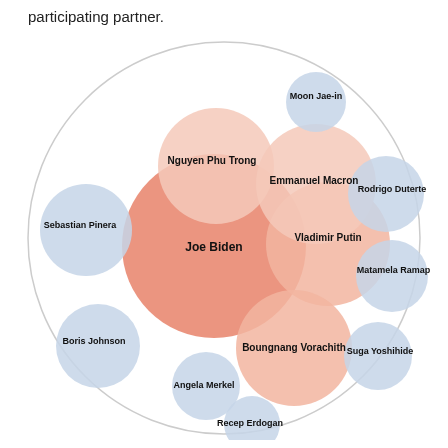participating partner.
[Figure (bubble-chart): Bubble chart showing world leaders as circles of varying sizes and colors (salmon/orange for some, light blue for others). Joe Biden has the largest bubble (salmon), Vladimir Putin and Boungnang Vorachith have medium salmon bubbles, Nguyen Phu Trong and Emmanuel Macron have medium salmon bubbles, and others (Sebastian Pinera, Boris Johnson, Angela Merkel, Moon Jae-in, Rodrigo Duterte, Matamela Ramaphosa, Suga Yoshihide, Recep Erdogan) have smaller light blue or light salmon bubbles, all contained within a large outer circle.]